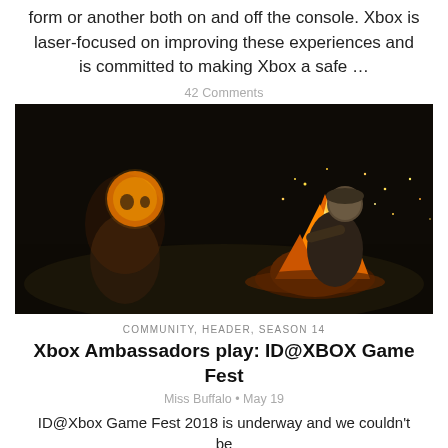form or another both on and off the console. Xbox is laser-focused on improving these experiences and is committed to making Xbox a safe …
42 Comments
[Figure (photo): Dark video game screenshot showing two characters wearing masks sitting around a campfire at night, with sparks and flames visible]
COMMUNITY, HEADER, SEASON 14
Xbox Ambassadors play: ID@XBOX Game Fest
Miss Buffalo • May 19
ID@Xbox Game Fest 2018 is underway and we couldn't be